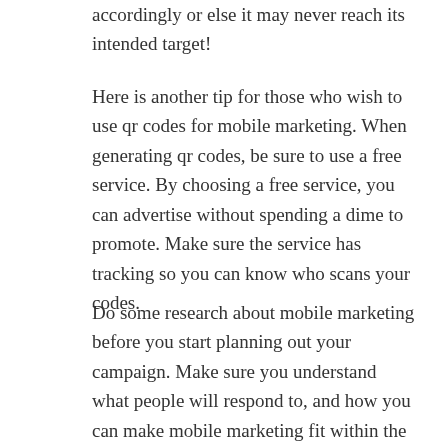accordingly or else it may never reach its intended target!
Here is another tip for those who wish to use qr codes for mobile marketing. When generating qr codes, be sure to use a free service. By choosing a free service, you can advertise without spending a dime to promote. Make sure the service has tracking so you can know who scans your codes.
Do some research about mobile marketing before you start planning out your campaign. Make sure you understand what people will respond to, and how you can make mobile marketing fit within the context of your other marketing strategies. Hire a professional if you are not sure you can make the best decisions by yourself.
Enhance your text messages with other forms of communication. Make use of multi-channel marketing. One form communication isn't enough for today's audience.